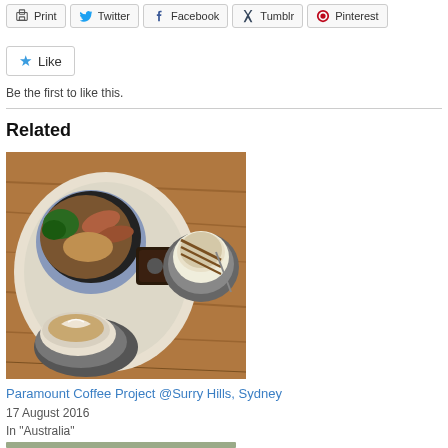[Figure (screenshot): Row of share/action buttons: Print, Twitter, Facebook, Tumblr, Pinterest]
[Figure (screenshot): Like button with star icon]
Be the first to like this.
Related
[Figure (photo): Photo of cafe food: bowl of food with greens, sausages, grains on a large plate, a slice of dark bread, and two coffee drinks in gray cups on a wooden table.]
Paramount Coffee Project @Surry Hills, Sydney
17 August 2016
In "Australia"